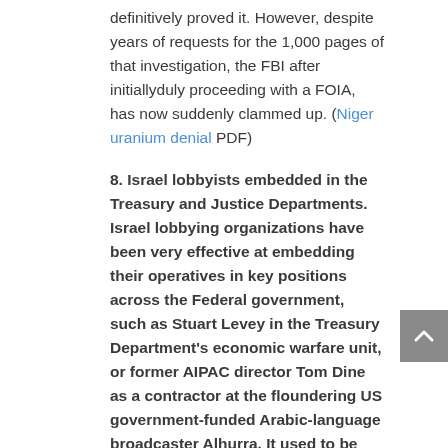definitively proved it. However, despite years of requests for the 1,000 pages of that investigation, the FBI after initiallyduly proceeding with a FOIA, has now suddenly clammed up. (Niger uranium denial PDF)
8. Israel lobbyists embedded in the Treasury and Justice Departments. Israel lobbying organizations have been very effective at embedding their operatives in key positions across the Federal government, such as Stuart Levey in the Treasury Department's economic warfare unit, or former AIPAC director Tom Dine as a contractor at the floundering US government-funded Arabic-language broadcaster Alhurra. It used to be possible to get a phone directory or conduct a comprehensive audit of which key political appointees (and the people they brought in) were running critical divisions of federal agencies by obtaining detailed Office of